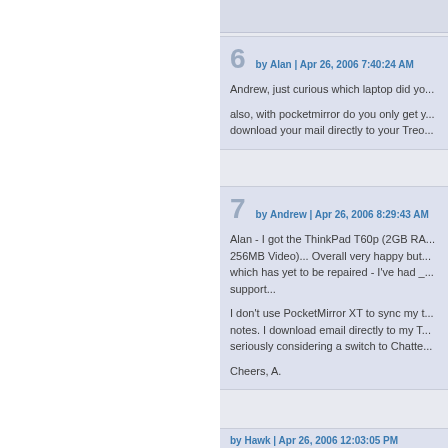by Alan | Apr 26, 2006 7:40:24 AM
Andrew, just curious which laptop did yo...
also, with pocketmirror do you only get y... download your mail directly to your Treo...
by Andrew | Apr 26, 2006 8:29:43 AM
Alan - I got the ThinkPad T60p (2GB RA... 256MB Video)... Overall very happy but... which has yet to be repaired - I've had _... support...
I don't use PocketMirror XT to sync my t... notes. I download email directly to my T... seriously considering a switch to Chatte...
Cheers, A.
by Hawk | Apr 26, 2006 12:03:05 PM